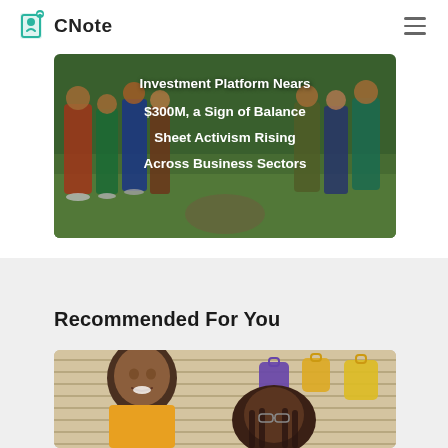CNote
[Figure (photo): Hero image showing people standing on grass outdoors with text overlay about investment platform nearing $300M]
Investment Platform Nears $300M, a Sign of Balance Sheet Activism Rising Across Business Sectors
Recommended For You
[Figure (photo): Two young people smiling in what appears to be a retail store with bags on display in the background]